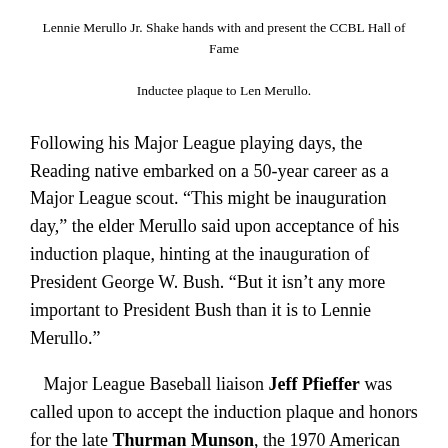Lennie Merullo Jr. Shake hands with and present the CCBL Hall of Fame Inductee plaque to Len Merullo.
Following his Major League playing days, the Reading native embarked on a 50-year career as a Major League scout. “This might be inauguration day,” the elder Merullo said upon acceptance of his induction plaque, hinting at the inauguration of President George W. Bush. “But it isn’t any more important to President Bush than it is to Lennie Merullo.”
Major League Baseball liaison Jeff Pfieffer was called upon to accept the induction plaque and honors for the late Thurman Munson, the 1970 American League Rookie of The Year and first New York Yankee Captain since Lou Gehrig. Munson got